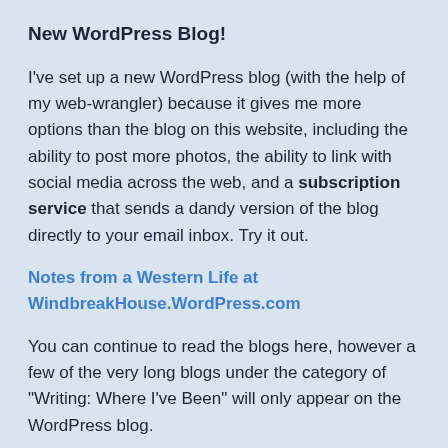New WordPress Blog!
I've set up a new WordPress blog (with the help of my web-wrangler) because it gives me more options than the blog on this website, including the ability to post more photos, the ability to link with social media across the web, and a subscription service that sends a dandy version of the blog directly to your email inbox. Try it out.
Notes from a Western Life at WindbreakHouse.WordPress.com
You can continue to read the blogs here, however a few of the very long blogs under the category of "Writing: Where I've Been" will only appear on the WordPress blog.